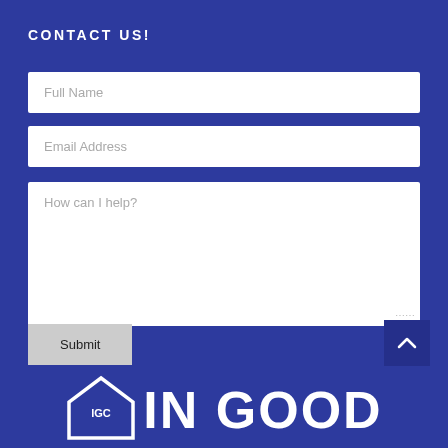CONTACT US!
Full Name
Email Address
How can I help?
Submit
[Figure (logo): IGC In Good Company logo — diamond/house shape icon with IGC initials and bold text 'IN GOOD' in white on blue background]